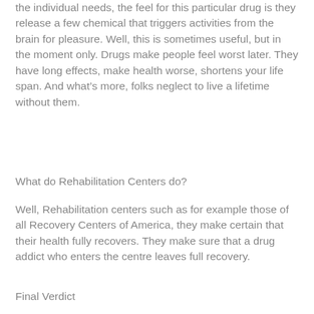the individual needs, the feel for this particular drug is they release a few chemical that triggers activities from the brain for pleasure. Well, this is sometimes useful, but in the moment only. Drugs make people feel worst later. They have long effects, make health worse, shortens your life span. And what's more, folks neglect to live a lifetime without them.
What do Rehabilitation Centers do?
Well, Rehabilitation centers such as for example those of all Recovery Centers of America, they make certain that their health fully recovers. They make sure that a drug addict who enters the centre leaves full recovery.
Final Verdict